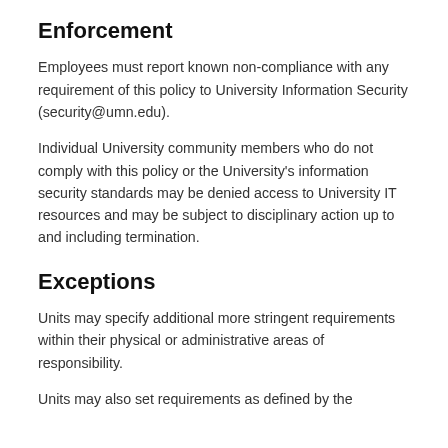Enforcement
Employees must report known non-compliance with any requirement of this policy to University Information Security (security@umn.edu).
Individual University community members who do not comply with this policy or the University's information security standards may be denied access to University IT resources and may be subject to disciplinary action up to and including termination.
Exceptions
Units may specify additional more stringent requirements within their physical or administrative areas of responsibility.
Units may also set requirements as defined by the